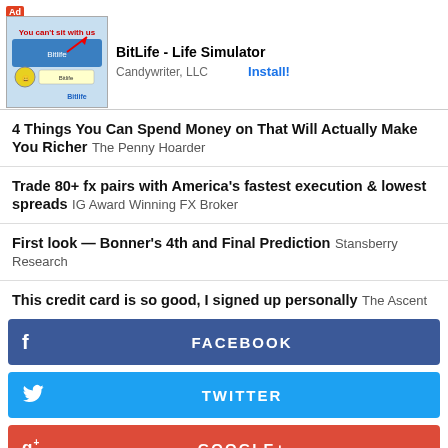[Figure (screenshot): Mobile app advertisement overlay for BitLife - Life Simulator by Candywriter, LLC with Install button]
4 Things You Can Spend Money on That Will Actually Make You Richer The Penny Hoarder
Trade 80+ fx pairs with America's fastest execution & lowest spreads IG Award Winning FX Broker
First look — Bonner's 4th and Final Prediction Stansberry Research
This credit card is so good, I signed up personally The Ascent
FACEBOOK
TWITTER
GOOGLE+
LINKEDIN
REDDIT